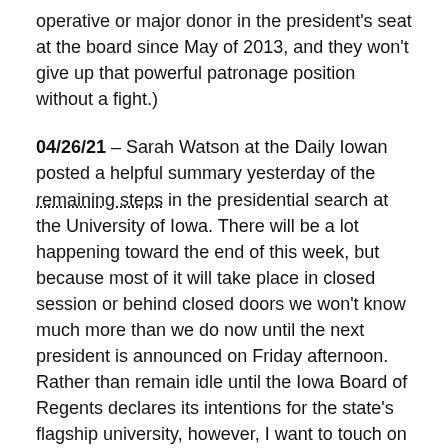operative or major donor in the president's seat at the board since May of 2013, and they won't give up that powerful patronage position without a fight.)
04/26/21 – Sarah Watson at the Daily Iowan posted a helpful summary yesterday of the remaining steps in the presidential search at the University of Iowa. There will be a lot happening toward the end of this week, but because most of it will take place in closed session or behind closed doors we won't know much more than we do now until the next president is announced on Friday afternoon. Rather than remain idle until the Iowa Board of Regents declares its intentions for the state's flagship university, however, I want to touch on an issue from the candidate forums that were conducted over the past two weeks.